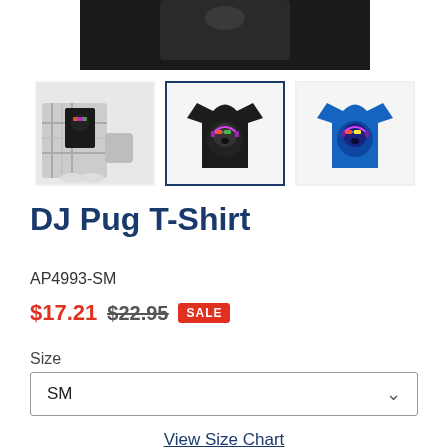[Figure (photo): Three product thumbnails of DJ Pug T-Shirt: left shows outfit styled with flannel shirt and sneakers on black tee, center (selected) shows black tee with DJ pug graphic, right shows blue tee with DJ pug graphic. Above is a partial view of the main product image (black tee, cropped).]
DJ Pug T-Shirt
AP4993-SM
$17.21  $22.95  SALE
Size
SM
View Size Chart